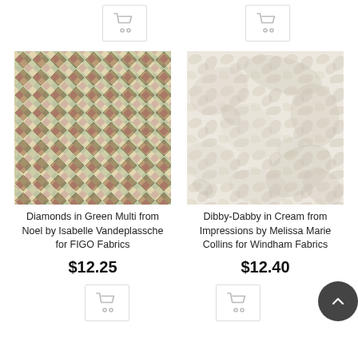[Figure (other): Shopping cart icon button at top left]
[Figure (other): Shopping cart icon button at top right]
[Figure (photo): Diamonds in Green Multi fabric — colorful green, red, gold diamond/harlequin woven pattern]
[Figure (photo): Dibby-Dabby in Cream fabric — soft cream mottled/cloudy texture]
Diamonds in Green Multi from Noel by Isabelle Vandeplassche for FIGO Fabrics
$12.25
Dibby-Dabby in Cream from Impressions by Melissa Marie Collins for Windham Fabrics
$12.40
[Figure (other): Shopping cart icon button at bottom left]
[Figure (other): Shopping cart icon button at bottom right]
[Figure (other): Back to top circular button (dark grey, chevron up icon) at bottom right]